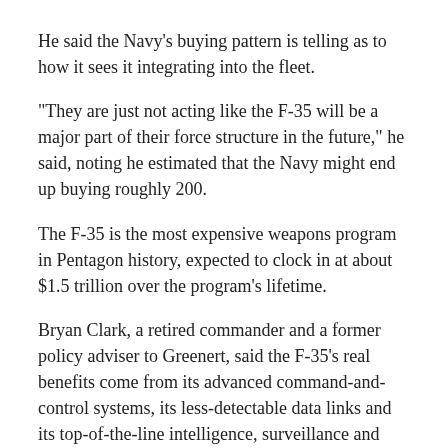He said the Navy's buying pattern is telling as to how it sees it integrating into the fleet.
“They are just not acting like the F-35 will be a major part of their force structure in the future,” he said, noting he estimated that the Navy might end up buying roughly 200.
The F-35 is the most expensive weapons program in Pentagon history, expected to clock in at about $1.5 trillion over the program’s lifetime.
Bryan Clark, a retired commander and a former policy adviser to Greenert, said the F-35’s real benefits come from its advanced command-and-control systems, its less-detectable data links and its top-of-the-line intelligence, surveillance and reconnaissance systems.
“These and its stealth would enable it to act as a forward sensor and command-and-control platform. These functions might however be shouldered by a substitute f…